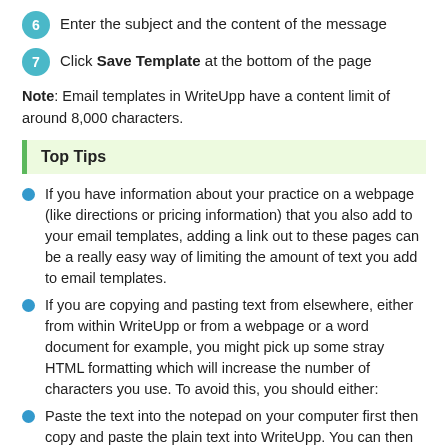6  Enter the subject and the content of the message
7  Click Save Template at the bottom of the page
Note: Email templates in WriteUpp have a content limit of around 8,000 characters.
Top Tips
If you have information about your practice on a webpage (like directions or pricing information) that you also add to your email templates, adding a link out to these pages can be a really easy way of limiting the amount of text you add to email templates.
If you are copying and pasting text from elsewhere, either from within WriteUpp or from a webpage or a word document for example, you might pick up some stray HTML formatting which will increase the number of characters you use. To avoid this, you should either:
Paste the text into the notepad on your computer first then copy and paste the plain text into WriteUpp. You can then